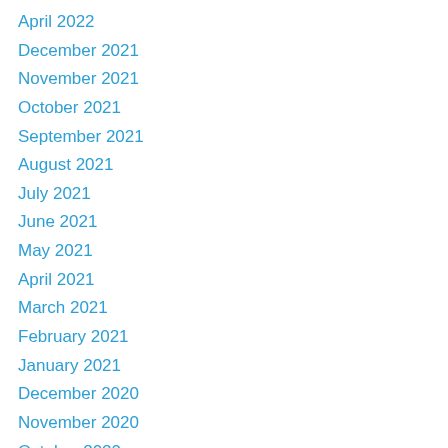April 2022
December 2021
November 2021
October 2021
September 2021
August 2021
July 2021
June 2021
May 2021
April 2021
March 2021
February 2021
January 2021
December 2020
November 2020
October 2020
September 2020
August 2020
July 2020
June 2020